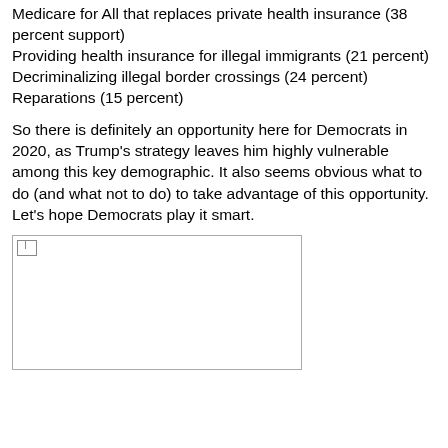Medicare for All that replaces private health insurance (38 percent support)
Providing health insurance for illegal immigrants (21 percent)
Decriminalizing illegal border crossings (24 percent)
Reparations (15 percent)
So there is definitely an opportunity here for Democrats in 2020, as Trump's strategy leaves him highly vulnerable among this key demographic. It also seems obvious what to do (and what not to do) to take advantage of this opportunity. Let's hope Democrats play it smart.
[Figure (photo): Broken/missing image placeholder, approximately 290x135px with border]